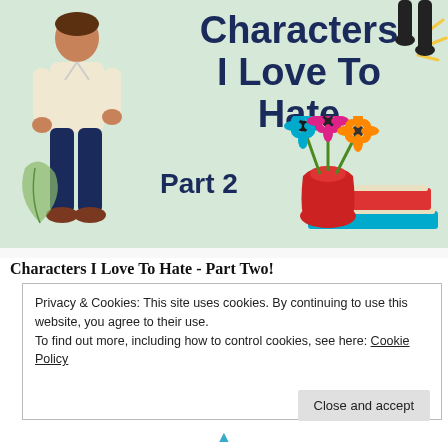[Figure (illustration): Blog post header image with light green background, illustrated man on left, flowers in red vase with stacked books on right, decorative cat legs in top right, yellow lines accent. Title text reads 'Characters I Love To Hate Part 2' in dark navy bold font.]
Characters I Love To Hate - Part Two!
Privacy & Cookies: This site uses cookies. By continuing to use this website, you agree to their use.
To find out more, including how to control cookies, see here: Cookie Policy
Close and accept